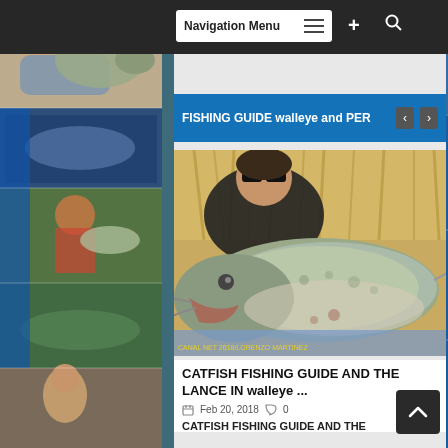[Figure (screenshot): Website screenshot of a fishing guide blog showing navigation bar, blue heading banner reading 'FISHING GUIDE walleye and PERI' with left/right arrows, a photo of a man posing with a large catfish closeup, article title 'CATFISH FISHING GUIDE AND THE LANCE IN walleye ...', date 'Feb 20, 2018', comments '0', and article excerpt 'CATFISH FISHING GUIDE AND THE'. Background features a collage of fishing photos on left and right sides.]